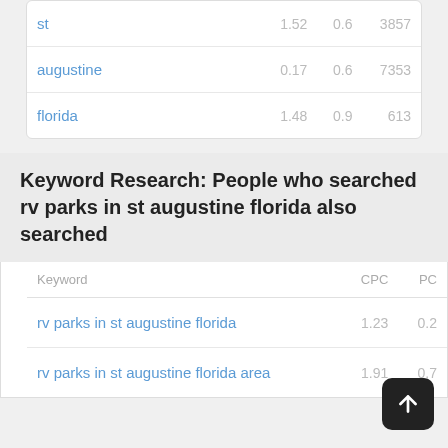| Keyword |  |  |  |
| --- | --- | --- | --- |
| st | 1.52 | 0.6 | 3857 |
| augustine | 0.17 | 0.6 | 7353 |
| florida | 1.48 | 0.9 | 613 |
Keyword Research: People who searched rv parks in st augustine florida also searched
| Keyword | CPC | PC |
| --- | --- | --- |
| rv parks in st augustine florida | 1.23 | 0.2 |
| rv parks in st augustine florida area | 1.91 | 0.7 |